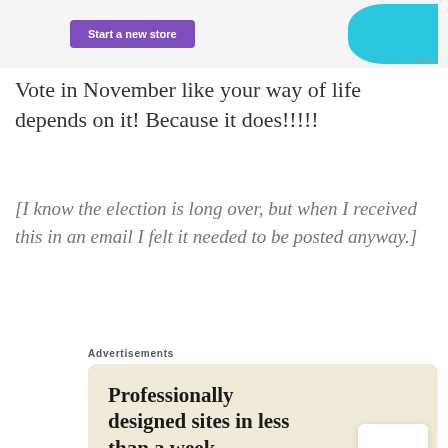[Figure (screenshot): Top advertisement banner with a purple 'Start a new store' button on left and a cyan decorative shape on the right, on a light gray background. A 'REPORT THIS AD' label appears below on the far right.]
Vote in November like your way of life depends on it! Because it does!!!!!
[I know the election is long over, but when I received this in an email I felt it needed to be posted anyway.]
Advertisements
[Figure (screenshot): Advertisement for a web design service. Beige/cream background. Large serif text reads 'Professionally designed sites in less than a week'. A green 'Explore options' button. Right side shows mockup images of websites including a card with letter A and food imagery.]